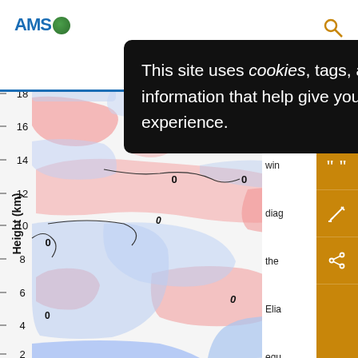AMS - American Meteorological Society
[Figure (continuous-plot): Scientific contour plot showing Height (km) on y-axis from 2 to 18 km. The plot contains pink/red and light blue contour regions with labeled zero contour lines (0) at various positions. This is a meteorological cross-section diagram, likely showing wind or temperature anomalies. The contours alternate between warm (pink/red) and cool (blue) regions across the height levels.]
This site uses cookies, tags, and tracking settings to store information that help give you the very best browsing experience.
(b)
win
diag
the
Elia
equ
Ts =